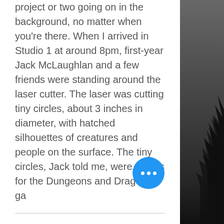project or two going on in the background, no matter when you're there. When I arrived in Studio 1 at around 8pm, first-year Jack McLaughlan and a few friends were standing around the laser cutter. The laser was cutting tiny circles, about 3 inches in diameter, with hatched silhouettes of creatures and people on the surface. The tiny circles, Jack told me, were tokens for the Dungeons and Dragons ga
WINTER WEATHER PREP
Winter is upon us, and that means weather, snow, and lots and lots of salt
[Figure (photo): Dark grayscale photograph on the right side of the page showing a night/dusk sky with a tree silhouette at the bottom right]